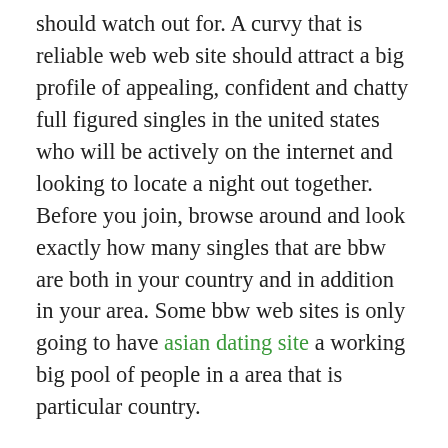should watch out for. A curvy that is reliable web web site should attract a big profile of appealing, confident and chatty full figured singles in the united states who will be actively on the internet and looking to locate a night out together. Before you join, browse around and look exactly how many singles that are bbw are both in your country and in addition in your area. Some bbw web sites is only going to have asian dating site a working big pool of people in a area that is particular country.
To savor the best BBW experience that is dating, guarantee that the main one you join has a good amount of plus-size singles in where you live that one may possibly talk to and